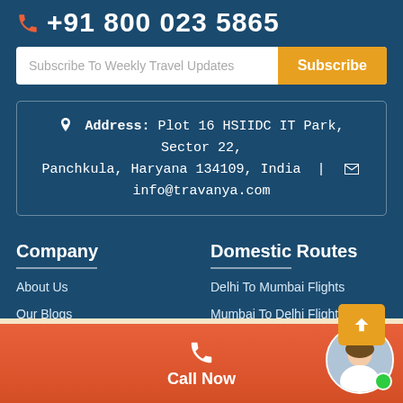+91 800 023 5865
Subscribe To Weekly Travel Updates
Address: Plot 16 HSIIDC IT Park, Sector 22, Panchkula, Haryana 134109, India | info@travanya.com
Company
About Us
Our Blogs
Cheap Flights
Domestic Routes
Delhi To Mumbai Flights
Mumbai To Delhi Flights
Bangalore To Kolkata Flights
Call Now